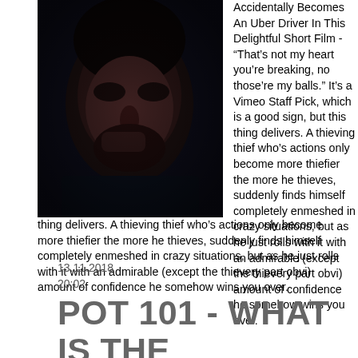[Figure (photo): Dark photo of a man's face, dimly lit, close-up portrait]
Accidentally Becomes An Uber Driver In This Delightful Short Film - "That's not my heart you're breaking, no those're my balls." It's a Vimeo Staff Pick, which is a good sign, but this thing delivers. A thieving thief who's actions only become more thiefier the more he thieves, suddenly finds himself completely enmeshed in crazy situations, but as he just rolls with it with an admirable (except the thievery part obvi) amount of confidence he somehow wins you over.
13.11.2018
20:02
POT 101 - WHAT IS THE DIFFERENCE BETWEEN THC AND CBD